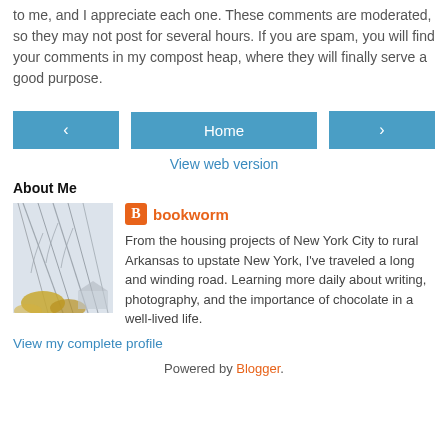to me, and I appreciate each one. These comments are moderated, so they may not post for several hours. If you are spam, you will find your comments in my compost heap, where they will finally serve a good purpose.
[Figure (other): Navigation bar with left arrow button, Home center button, and right arrow button, plus View web version link below]
About Me
[Figure (photo): Outdoor photo showing bare trees with hanging branches or wires against a light sky, with yellow foliage visible at bottom]
bookworm
From the housing projects of New York City to rural Arkansas to upstate New York, I've traveled a long and winding road. Learning more daily about writing, photography, and the importance of chocolate in a well-lived life.
View my complete profile
Powered by Blogger.